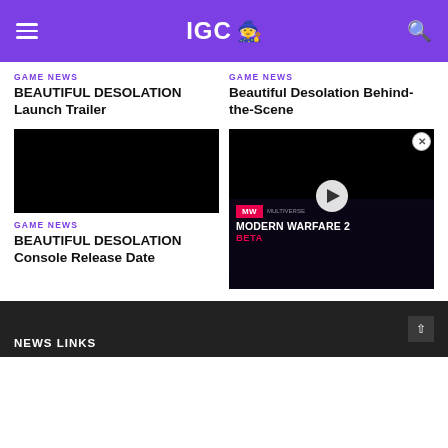IGC
GAME NEWS
BEAUTIFUL DESOLATION Launch Trailer
GAME NEWS
Beautiful Desolation Behind-the-Scene
[Figure (screenshot): Black thumbnail for BEAUTIFUL DESOLATION Console Release Date video]
GAME NEWS
BEAUTIFUL DESOLATION Console Release Date
[Figure (screenshot): Modern Warfare 2 Beta advertisement overlay with play button, MW logo badge, and pink beta text]
NEWS LINKS